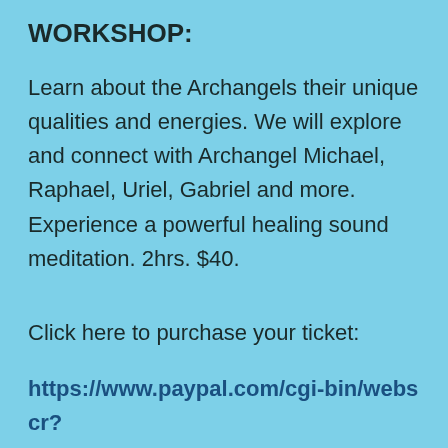WORKSHOP:
Learn about the Archangels their unique qualities and energies. We will explore and connect with Archangel Michael, Raphael, Uriel, Gabriel and more. Experience a powerful healing sound meditation. 2hrs. $40.
Click here to purchase your ticket:
https://www.paypal.com/cgi-bin/webscr?cmd=_s-xclick&hosted_button_id=QVRAM3DFDGYUQ
Email me for more information or to register for workshops at my website.